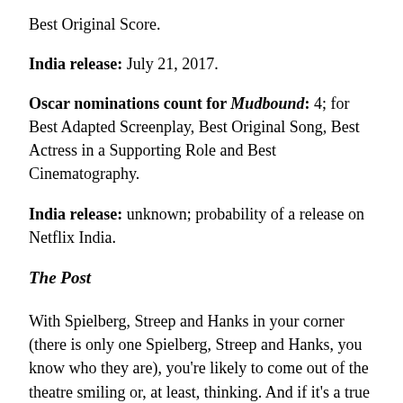Best Original Score.
India release: July 21, 2017.
Oscar nominations count for Mudbound: 4; for Best Adapted Screenplay, Best Original Song, Best Actress in a Supporting Role and Best Cinematography.
India release: unknown; probability of a release on Netflix India.
The Post
With Spielberg, Streep and Hanks in your corner (there is only one Spielberg, Streep and Hanks, you know who they are), you're likely to come out of the theatre smiling or, at least, thinking. And if it's a true story on top of that, it's almost certainly geared for success. Generating plenty of Oscar buzz, the story centres around the first major female publisher in America. The